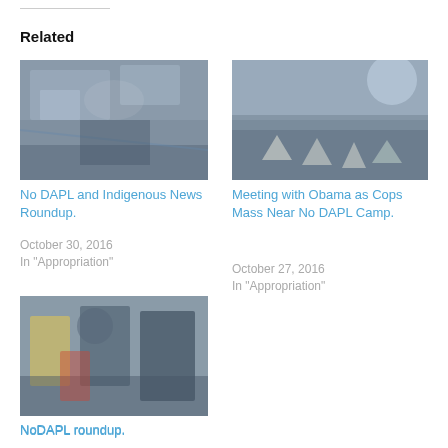Related
[Figure (photo): Crowd scene at No DAPL protest with water spray or mist visible, people gathered outdoors on a road or open area]
No DAPL and Indigenous News Roundup.
October 30, 2016
In "Appropriation"
[Figure (photo): Aerial or elevated view of a large encampment with teepees/tents spread across an open landscape, cloudy sky, near No DAPL camp]
Meeting with Obama as Cops Mass Near No DAPL Camp.
October 27, 2016
In "Appropriation"
[Figure (photo): People in riot gear and protesters at a No DAPL demonstration, close-up showing police and activists]
NoDAPL roundup.
November 1, 2016
In "Appropriation"